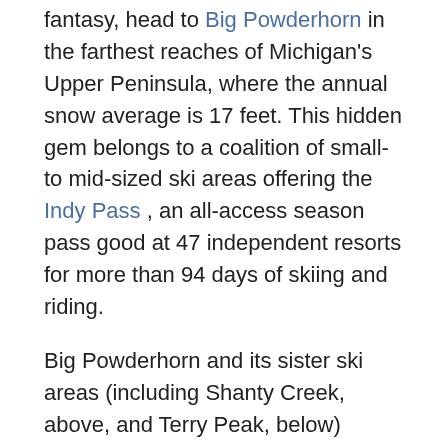fantasy, head to Big Powderhorn in the farthest reaches of Michigan's Upper Peninsula, where the annual snow average is 17 feet. This hidden gem belongs to a coalition of small- to mid-sized ski areas offering the Indy Pass , an all-access season pass good at 47 independent resorts for more than 94 days of skiing and riding.
Big Powderhorn and its sister ski areas (including Shanty Creek, above, and Terry Peak, below) feature stellar terrain, snow quality and amenities while maintaining best-value by being less crowded than mega resorts that have hosted Olympic games, for example. They're affordable, with all-day lift tickets often under $50 per child, and families love the abundance of mid-level runs and short lift lines.